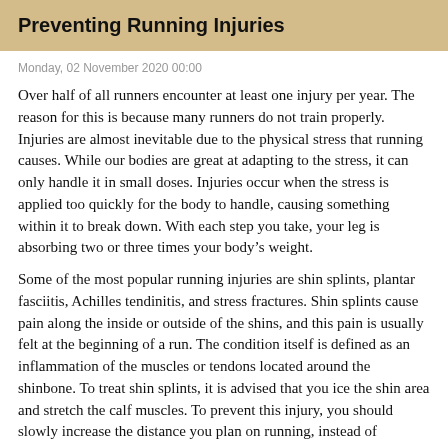Preventing Running Injuries
Monday, 02 November 2020 00:00
Over half of all runners encounter at least one injury per year. The reason for this is because many runners do not train properly. Injuries are almost inevitable due to the physical stress that running causes. While our bodies are great at adapting to the stress, it can only handle it in small doses. Injuries occur when the stress is applied too quickly for the body to handle, causing something within it to break down. With each step you take, your leg is absorbing two or three times your body’s weight.
Some of the most popular running injuries are shin splints, plantar fasciitis, Achilles tendinitis, and stress fractures. Shin splints cause pain along the inside or outside of the shins, and this pain is usually felt at the beginning of a run. The condition itself is defined as an inflammation of the muscles or tendons located around the shinbone. To treat shin splints, it is advised that you ice the shin area and stretch the calf muscles. To prevent this injury, you should slowly increase the distance you plan on running, instead of jumping into a more strenuous